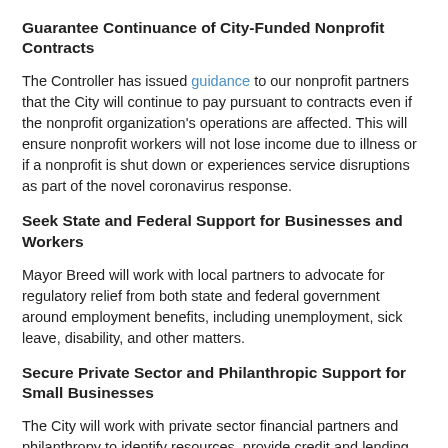Guarantee Continuance of City-Funded Nonprofit Contracts
The Controller has issued guidance to our nonprofit partners that the City will continue to pay pursuant to contracts even if the nonprofit organization's operations are affected. This will ensure nonprofit workers will not lose income due to illness or if a nonprofit is shut down or experiences service disruptions as part of the novel coronavirus response.
Seek State and Federal Support for Businesses and Workers
Mayor Breed will work with local partners to advocate for regulatory relief from both state and federal government around employment benefits, including unemployment, sick leave, disability, and other matters.
Secure Private Sector and Philanthropic Support for Small Businesses
The City will work with private sector financial partners and philanthropy to identify resources, provide credit and lending flexibility, and offer direct financial support to the maximum extent feasible.
Support for Employees and Contractors
The City is requesting that all private sector employers in San Francisco be as flexible as possible with their employees and with their small business contractors. The City will lead by example by reaching out to commercial tenants to discuss any need for rent payment deferral, including tenants at the